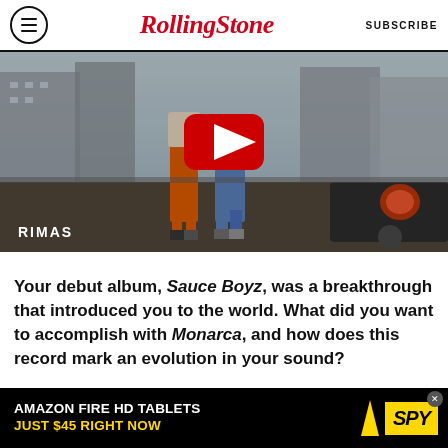RollingStone | SUBSCRIBE
[Figure (screenshot): YouTube video thumbnail showing people standing on a car in a city street with 'RIMAS' label overlay and red YouTube play button]
Your debut album, Sauce Boyz, was a breakthrough that introduced you to the world. What did you want to accomplish with Monarca, and how does this record mark an evolution in your sound?
[Figure (other): Advertisement banner: AMAZON FIRE HD TABLETS JUST $45 RIGHT NOW / SPY logo]